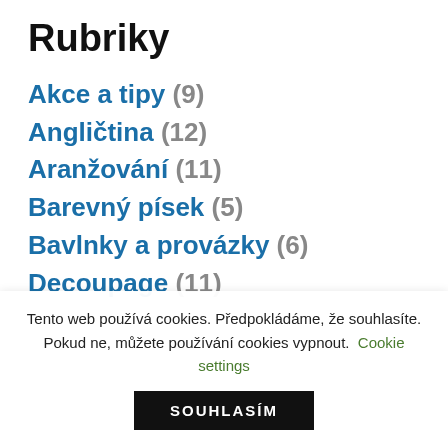Rubriky
Akce a tipy (9)
Angličtina (12)
Aranžování (11)
Barevný písek (5)
Bavlnky a provázky (6)
Decoupage (11)
Tento web používá cookies. Předpokládáme, že souhlasíte. Pokud ne, můžete používání cookies vypnout. Cookie settings
SOUHLASÍM